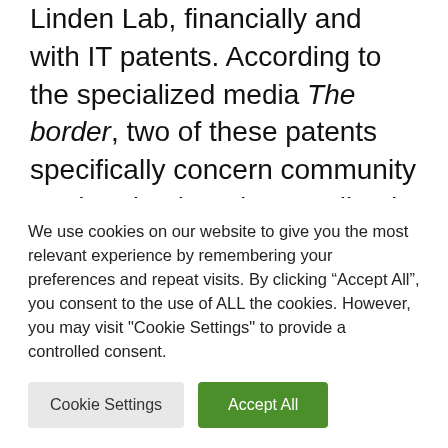Linden Lab, financially and with IT patents. According to the specialized media The border, two of these patents specifically concern community moderation in a decentralized environment. A topic of particular interest to future metaverse actors, while the moderation of social networks has never been so discussed. Wagner James Au asked Rosedale about these problems. The creator of Second life
We use cookies on our website to give you the most relevant experience by remembering your preferences and repeat visits. By clicking “Accept All”, you consent to the use of ALL the cookies. However, you may visit "Cookie Settings" to provide a controlled consent.